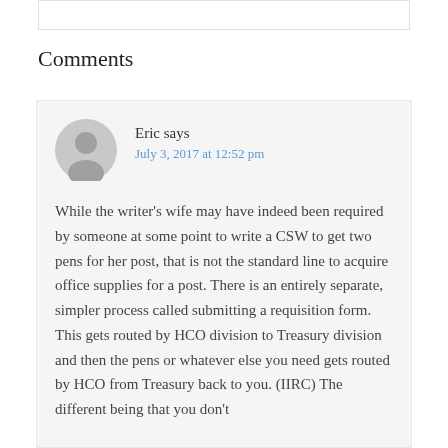Comments
Eric says
July 3, 2017 at 12:52 pm
While the writer's wife may have indeed been required by someone at some point to write a CSW to get two pens for her post, that is not the standard line to acquire office supplies for a post. There is an entirely separate, simpler process called submitting a requisition form. This gets routed by HCO division to Treasury division and then the pens or whatever else you need gets routed by HCO from Treasury back to you. (IIRC) The different being that you don't